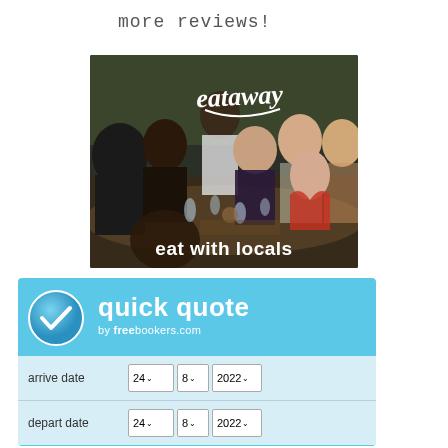more reviews!
[Figure (photo): Eataway advertisement showing a group of people eating together at a dinner table with text 'eataway' and 'eat with locals']
[Figure (infographic): Quick quote widget by freebookers.com with arrive date and depart date dropdowns showing 24, 8, 2022]